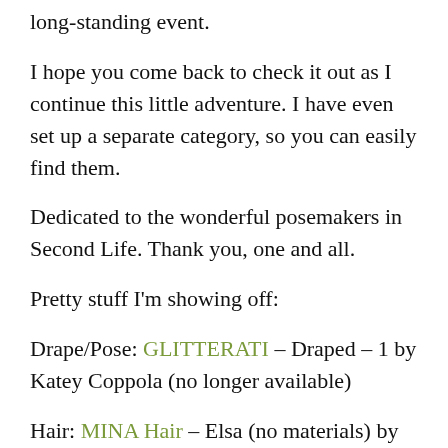long-standing event.
I hope you come back to check it out as I continue this little adventure. I have even set up a separate category, so you can easily find them.
Dedicated to the wonderful posemakers in Second Life. Thank you, one and all.
Pretty stuff I'm showing off:
Drape/Pose: GLITTERATI – Draped – 1 by Katey Coppola (no longer available)
Hair: MINA Hair – Elsa (no materials) by Mina Nakamura (available at Shiny Shabby Sept. 20-Oct 15 2015)
Eyelids: Slosh Makeup dip by Siskabooo